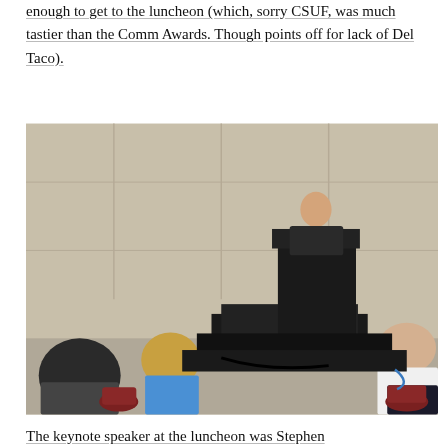enough to get to the luncheon (which, sorry CSUF, was much tastier than the Comm Awards. Though points off for lack of Del Taco).
[Figure (photo): A man in a dark suit stands at a black podium/lectern on a small elevated stage in a conference room with beige paneled walls. Several audience members are visible in the foreground, seated with their backs to the camera.]
The keynote speaker at the luncheon was Stephen